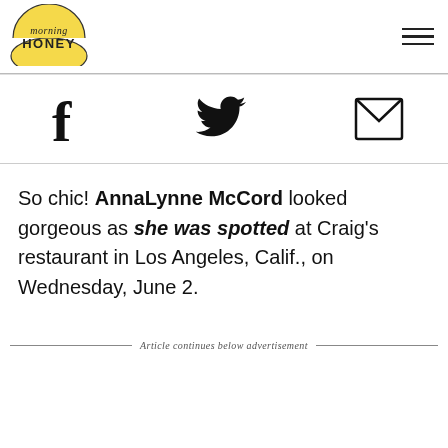[Figure (logo): Morning Honey logo — yellow semicircle with 'morning HONEY' text]
[Figure (other): Three horizontal lines hamburger menu icon]
[Figure (other): Social share icons: Facebook (f), Twitter bird, envelope/email]
So chic! AnnaLynne McCord looked gorgeous as she was spotted at Craig's restaurant in Los Angeles, Calif., on Wednesday, June 2.
Article continues below advertisement